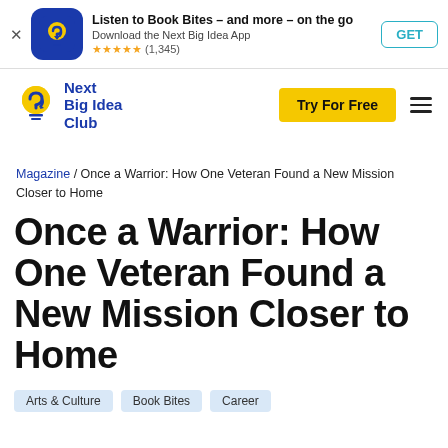[Figure (screenshot): App store banner with blue app icon (yellow lightbulb with arrow), title 'Listen to Book Bites – and more – on the go', subtitle 'Download the Next Big Idea App', star rating 5 stars (1,345), and GET button]
[Figure (logo): Next Big Idea Club logo: yellow lightbulb with arrow icon and blue text 'Next Big Idea Club']
Try For Free
Magazine / Once a Warrior: How One Veteran Found a New Mission Closer to Home
Once a Warrior: How One Veteran Found a New Mission Closer to Home
Arts & Culture
Book Bites
Career